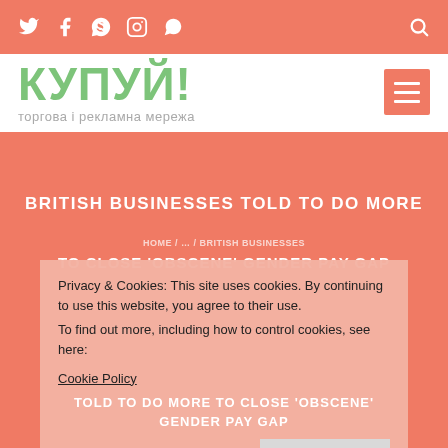Social icons: Twitter, Facebook, Skype, Instagram, WhatsApp; Search icon
КУПУЙ!
торгова і рекламна мережа
BRITISH BUSINESSES TOLD TO DO MORE
TO CLOSE 'OBSCENE' GENDER PAY GAP
HOME / … / BRITISH BUSINESSES TOLD TO DO MORE TO CLOSE 'OBSCENE' GENDER PAY GAP
Privacy & Cookies: This site uses cookies. By continuing to use this website, you agree to their use.
To find out more, including how to control cookies, see here:
Cookie Policy
TOLD TO DO MORE TO CLOSE 'OBSCENE' GENDER PAY GAP
close and accept
МІСЦЕ ДЛЯ ВАШОЇ РЕКЛАМИ!